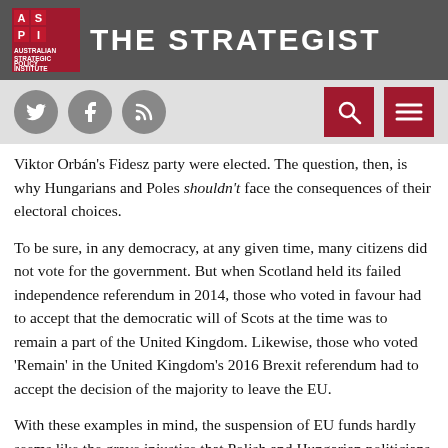THE STRATEGIST
Viktor Orbán's Fidesz party were elected. The question, then, is why Hungarians and Poles shouldn't face the consequences of their electoral choices.
To be sure, in any democracy, at any given time, many citizens did not vote for the government. But when Scotland held its failed independence referendum in 2014, those who voted in favour had to accept that the democratic will of Scots at the time was to remain a part of the United Kingdom. Likewise, those who voted 'Remain' in the United Kingdom's 2016 Brexit referendum had to accept the decision of the majority to leave the EU.
With these examples in mind, the suspension of EU funds hardly seems like the grave injustice that Polish and Hungarian politicians make it out to be. Unlike dictatorship, democracy